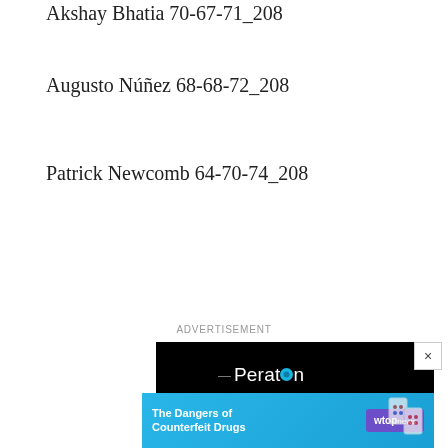Akshay Bhatia 70-67-71_208
Augusto Núñez 68-68-72_208
Patrick Newcomb 64-70-74_208
ADVERTISEMENT
[Figure (photo): Peraton advertisement with black background showing logo and text 'ON THE DIGITAL BATTLEFIELD,']
[Figure (photo): WTOP News banner ad: 'The Dangers of Counterfeit Drugs']